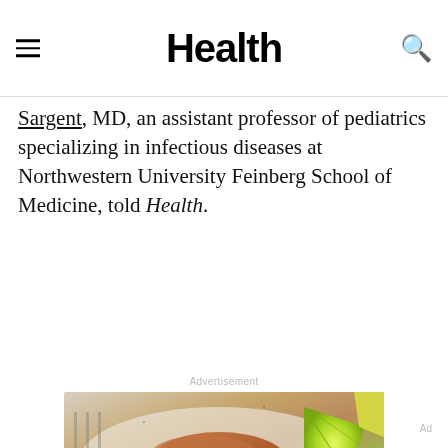Health
Sargent, MD, an assistant professor of pediatrics specializing in infectious diseases at Northwestern University Feinberg School of Medicine, told Health.
Advertisement
[Figure (photo): Food photograph showing grilled chicken with lime and other ingredients on a plate, used as an advertisement image]
Ad